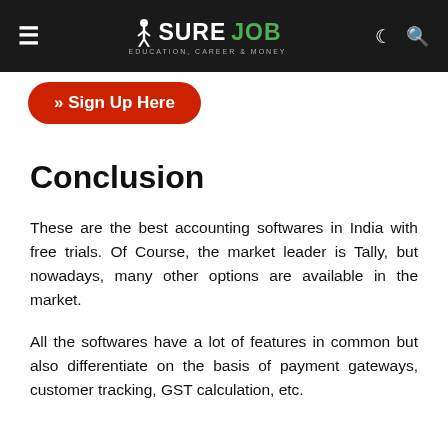Sure Job — Education, Career & Money
» Sign Up Here
Conclusion
These are the best accounting softwares in India with free trials. Of Course, the market leader is Tally, but nowadays, many other options are available in the market.
All the softwares have a lot of features in common but also differentiate on the basis of payment gateways, customer tracking, GST calculation, etc.